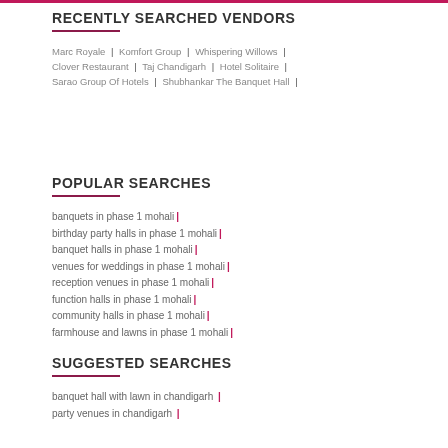RECENTLY SEARCHED VENDORS
Marc Royale | Komfort Group | Whispering Willows | Clover Restaurant | Taj Chandigarh | Hotel Solitaire | Sarao Group Of Hotels | Shubhankar The Banquet Hall |
POPULAR SEARCHES
banquets in phase 1 mohali |
birthday party halls in phase 1 mohali |
banquet halls in phase 1 mohali |
venues for weddings in phase 1 mohali |
reception venues in phase 1 mohali |
function halls in phase 1 mohali |
community halls in phase 1 mohali |
farmhouse and lawns in phase 1 mohali |
SUGGESTED SEARCHES
banquet hall with lawn in chandigarh |
party venues in chandigarh |